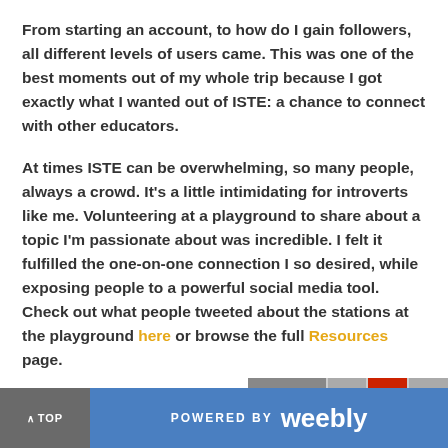From starting an account, to how do I gain followers, all different levels of users came. This was one of the best moments out of my whole trip because I got exactly what I wanted out of ISTE: a chance to connect with other educators.
At times ISTE can be overwhelming, so many people, always a crowd. It's a little intimidating for introverts like me. Volunteering at a playground to share about a topic I'm passionate about was incredible. I felt it fulfilled the one-on-one connection I so desired, while exposing people to a powerful social media tool. Check out what people tweeted about the stations at the playground here or browse the full Resources page.
If you're planning on attending ISTE 2017 in San Antonio, consider volunteering. It truly provides a unique experience.
∧ TOP   POWERED BY weebly